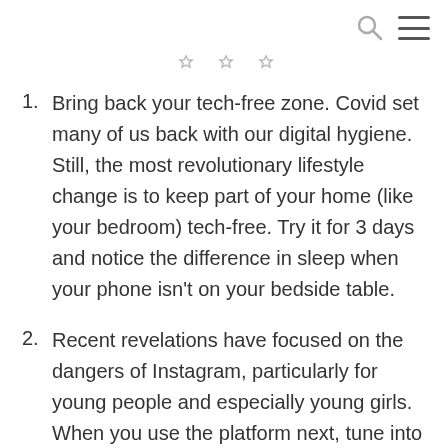[search icon] [menu icon]
1. Bring back your tech-free zone. Covid set many of us back with our digital hygiene. Still, the most revolutionary lifestyle change is to keep part of your home (like your bedroom) tech-free. Try it for 3 days and notice the difference in sleep when your phone isn't on your bedside table.
2. Recent revelations have focused on the dangers of Instagram, particularly for young people and especially young girls. When you use the platform next, tune into the energy that arises as you scroll. Does it feel enriching or depleting